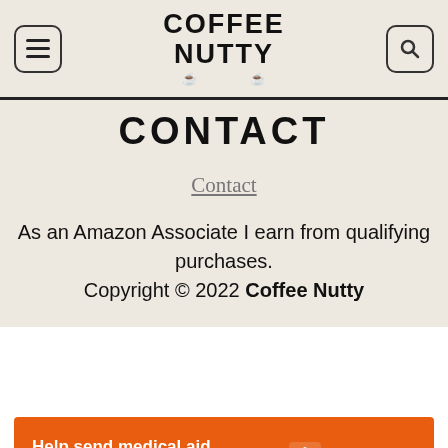COFFEE NUTTY
CONTACT
Contact
As an Amazon Associate I earn from qualifying purchases.
Copyright © 2022 Coffee Nutty
[Figure (infographic): Orange Direct Relief banner: Help send medical aid to Ukraine >>]